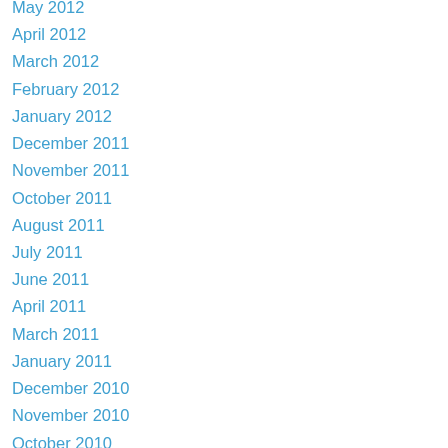May 2012
April 2012
March 2012
February 2012
January 2012
December 2011
November 2011
October 2011
August 2011
July 2011
June 2011
April 2011
March 2011
January 2011
December 2010
November 2010
October 2010
July 2010
April 2010
January 2010